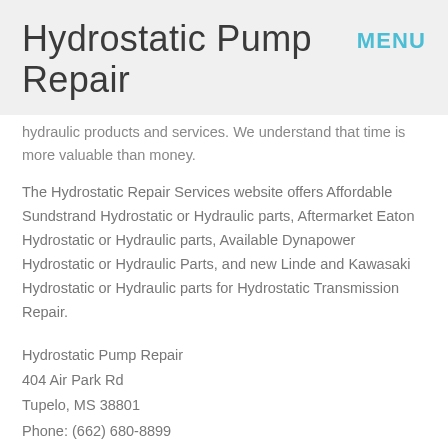Hydrostatic Pump Repair
hydraulic products and services. We understand that time is more valuable than money.
The Hydrostatic Repair Services website offers Affordable Sundstrand Hydrostatic or Hydraulic parts, Aftermarket Eaton Hydrostatic or Hydraulic parts, Available Dynapower Hydrostatic or Hydraulic Parts, and new Linde and Kawasaki Hydrostatic or Hydraulic parts for Hydrostatic Transmission Repair.
Hydrostatic Pump Repair
404 Air Park Rd
Tupelo, MS 38801
Phone: (662) 680-8899
Toll Free: (800) 361-0068
Email: sales@htsrepair.com
Call us for your repair on difficult to locate hydraulic or hydrostatic transmission repair.